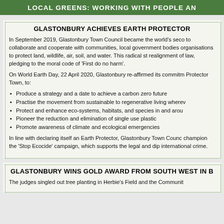LOCAL GREENS: WORKING WITH PEOPLE AN
GLASTONBURY ACHIEVES EARTH PROTECTOR
In September 2019, Glastonbury Town Council became the world's second to collaborate and cooperate with communities, local government bodies organisations to protect land, wildlife, air, soil, and water. This radical step realignment of law, pledging to the moral code of 'First do no harm'.
On World Earth Day, 22 April 2020, Glastonbury re-affirmed its commitment Protector Town, to:
Produce a strategy and a date to achieve a carbon zero future
Practise the movement from sustainable to regenerative living wherev
Protect and enhance eco-systems, habitats, and species in and arou
Pioneer the reduction and elimination of single use plastic
Promote awareness of climate and ecological emergencies
In line with declaring itself an Earth Protector, Glastonbury Town Council champion the 'Stop Ecocide' campaign, which supports the legal and diplomatic international crime.
GLASTONBURY WINS GOLD AWARD FROM SOUTH WEST IN B
The judges singled out tree planting in Herbie's Field and the Community